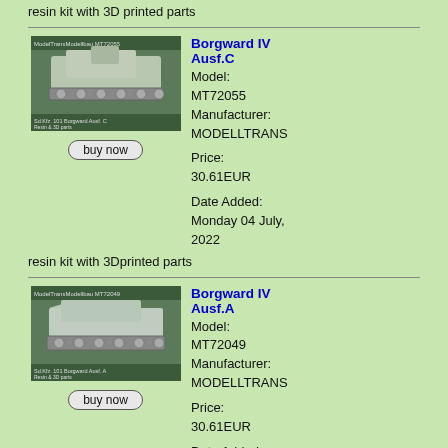resin kit with 3D printed parts
[Figure (photo): Photo of Borgward IV Ausf.C model kit (MT72055) - a small tracked vehicle model, resin and 3D parts, labeled Sd.Kfz. 101 Borgward Ausf. C]
Borgward IV Ausf.C
Model: MT72055
Manufacturer: MODELLTRANS
Price: 30.61EUR
Date Added: Monday 04 July, 2022
resin kit with 3Dprinted parts
[Figure (photo): Photo of Borgward IV Ausf.A model kit (MT72049) - a small tracked vehicle model, resin and 3D parts, labeled Sd.Kfz. 101 Borgward Ausf. A]
Borgward IV Ausf.A
Model: MT72049
Manufacturer: MODELLTRANS
Price: 30.61EUR
Date Added: Monday 04 July, 2022
resin kit with 3D printed parts
Displaying 121 to 150 (of 231 new products)
[<< Prev]  1  2  3  4  5  ...  [Next >>]